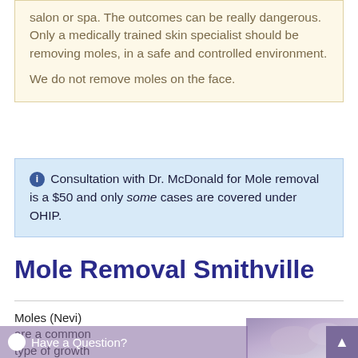salon or spa. The outcomes can be really dangerous. Only a medically trained skin specialist should be removing moles, in a safe and controlled environment. We do not remove moles on the face.
Consultation with Dr. McDonald for Mole removal is a $50 and only some cases are covered under OHIP.
Mole Removal Smithville
Moles (Nevi) are a common type of growth on the skin
[Figure (photo): Close-up photograph of skin showing a mole, blurred/soft focus with purple-gray tones]